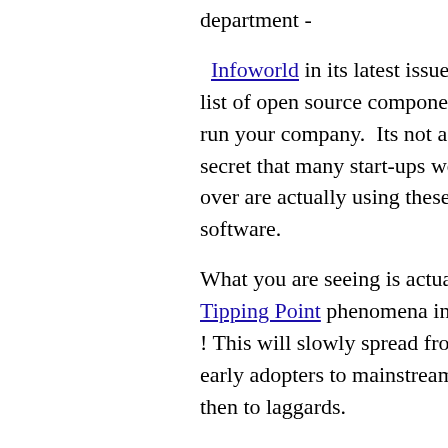department -
Infoworld in its latest issue has a list of open source components to run your company. Its not a big secret that many start-ups world over are actually using these software.
What you are seeing is actually a Tipping Point phenomena in action ! This will slowly spread from early adopters to mainstream and then to laggards.
Check out InfoWorld list if you want to get your company on the OSS track.